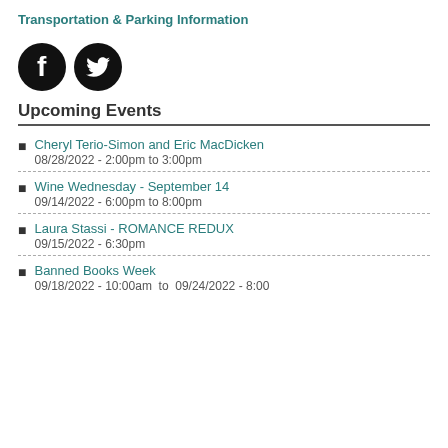Transportation & Parking Information
[Figure (logo): Facebook and Twitter social media icons (black circles with white logos)]
Upcoming Events
Cheryl Terio-Simon and Eric MacDicken
08/28/2022 - 2:00pm to 3:00pm
Wine Wednesday - September 14
09/14/2022 - 6:00pm to 8:00pm
Laura Stassi - ROMANCE REDUX
09/15/2022 - 6:30pm
Banned Books Week
09/18/2022 - 10:00am to 09/24/2022 - 8:00